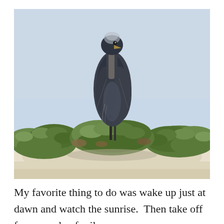[Figure (photo): A large dark-colored heron (likely a Great Blue Heron) perched atop low coastal shrubs/bushes growing out of white sand dunes, photographed against a pale blue sky. The bird stands tall with its body facing forward and slightly left.]
My favorite thing to do was wake up just at dawn and watch the sunrise.  Then take off for a couple of miles on